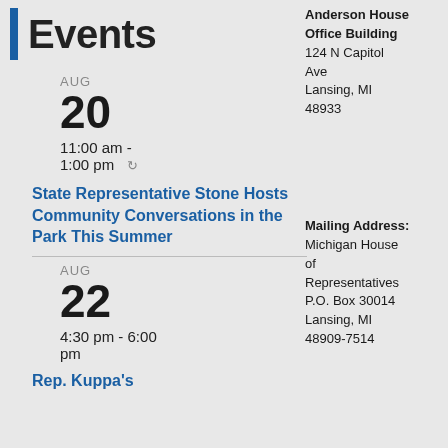Events
Anderson House Office Building
124 N Capitol Ave
Lansing, MI 48933
AUG 20
11:00 am - 1:00 pm
State Representative Stone Hosts Community Conversations in the Park This Summer
Mailing Address:
Michigan House of Representatives
P.O. Box 30014
Lansing, MI 48909-7514
AUG 22
4:30 pm - 6:00 pm
Rep. Kuppa's